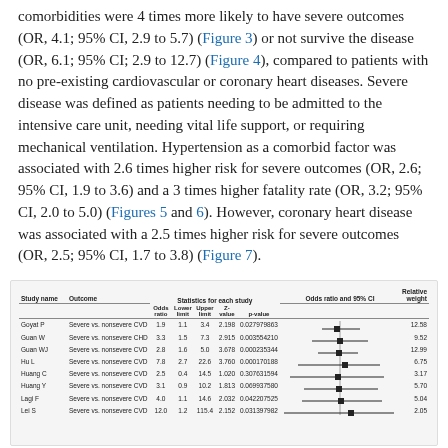comorbidities were 4 times more likely to have severe outcomes (OR, 4.1; 95% CI, 2.9 to 5.7) (Figure 3) or not survive the disease (OR, 6.1; 95% CI; 2.9 to 12.7) (Figure 4), compared to patients with no pre-existing cardiovascular or coronary heart diseases. Severe disease was defined as patients needing to be admitted to the intensive care unit, needing vital life support, or requiring mechanical ventilation. Hypertension as a comorbid factor was associated with 2.6 times higher risk for severe outcomes (OR, 2.6; 95% CI, 1.9 to 3.6) and a 3 times higher fatality rate (OR, 3.2; 95% CI, 2.0 to 5.0) (Figures 5 and 6). However, coronary heart disease was associated with a 2.5 times higher risk for severe outcomes (OR, 2.5; 95% CI, 1.7 to 3.8) (Figure 7).
[Figure (table-as-image): Forest plot table showing study name, outcome, statistics for each study (odds ratio, lower limit, upper limit, Z-value, p-value), and odds ratio with 95% CI chart with relative weight. Studies listed: Goyat P, Guan W, Guan WJ, Hu L, Huang C, Huang Y, Lagi F, Lei S.]